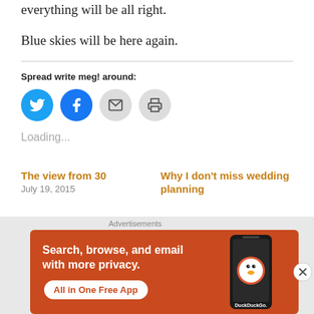everything will be all right.
Blue skies will be here again.
Spread write meg! around:
[Figure (other): Social sharing icons: Twitter (blue circle), Facebook (blue circle), Email (gray circle), Print (gray circle)]
Loading...
The view from 30
July 19, 2015
Why I don't miss wedding planning
Advertisements
[Figure (other): DuckDuckGo advertisement banner on orange/red background: 'Search, browse, and email with more privacy. All in One Free App' with DuckDuckGo logo and phone image]